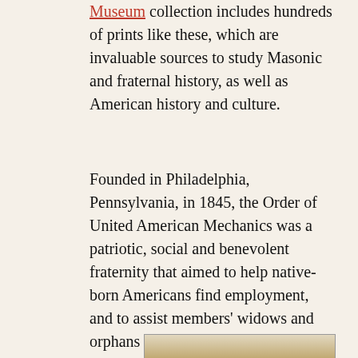Museum collection includes hundreds of prints like these, which are invaluable sources to study Masonic and fraternal history, as well as American history and culture.
Founded in Philadelphia, Pennsylvania, in 1845, the Order of United American Mechanics was a patriotic, social and benevolent fraternity that aimed to help native-born Americans find employment, and to assist members' widows and orphans and members who could not work.  The group's mission reflected the resentment that some American workers felt toward immigrants who were hired at lower wages.  Its emblem, shown at the print's center (at left), consisted of a square and compasses – similar to the well-known Masonic symbol – around the arm of labor.
[Figure (photo): Partial view of a historical print related to the Order of United American Mechanics, showing the bottom portion of the image.]